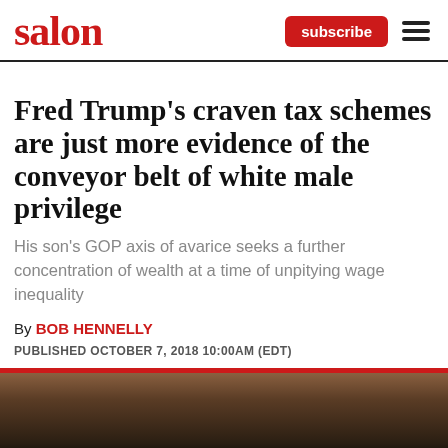salon
Fred Trump's craven tax schemes are just more evidence of the conveyor belt of white male privilege
His son's GOP axis of avarice seeks a further concentration of wealth at a time of unpitying wage inequality
By BOB HENNELLY
PUBLISHED OCTOBER 7, 2018 10:00AM (EDT)
[Figure (photo): Top portion of a photo showing two people's heads/faces, partially visible, dark toned image]